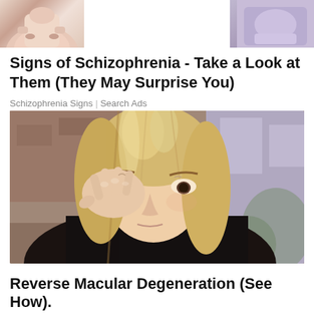[Figure (illustration): Partial view of two illustrated images at top: left shows a hand/finger illustration with pink tones, right shows a partial purple/blue toned illustration, both cropped at top of page]
Signs of Schizophrenia - Take a Look at Them (They May Surprise You)
Schizophrenia Signs | Search Ads
[Figure (photo): A blonde woman with long hair touching/rubbing her eye with her hand, appearing distressed, wearing a black top, with blurred background of brick building and greenery]
Reverse Macular Degeneration (See How).